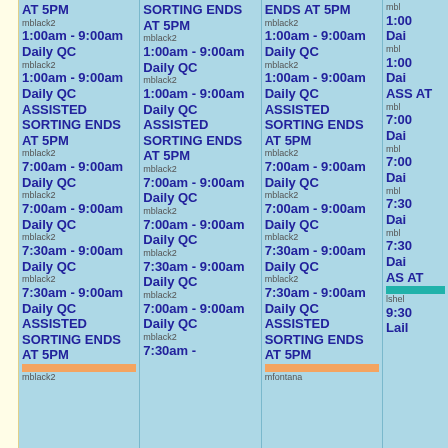| Col1 | Col2 | Col3 | Col4 |
| --- | --- | --- | --- |
| AT 5PM
mblack2
1:00am - 9:00am
Daily QC
mblack2
1:00am - 9:00am
Daily QC
ASSISTED SORTING ENDS AT 5PM
mblack2
7:00am - 9:00am
Daily QC
mblack2
7:00am - 9:00am
Daily QC
mblack2
7:30am - 9:00am
Daily QC
mblack2
7:30am - 9:00am
Daily QC
ASSISTED SORTING ENDS AT 5PM
mblack2 | SORTING ENDS AT 5PM
mblack2
1:00am - 9:00am
Daily QC
mblack2
1:00am - 9:00am
Daily QC
ASSISTED SORTING ENDS AT 5PM
mblack2
7:00am - 9:00am
Daily QC
mblack2
7:00am - 9:00am
Daily QC
mblack2
7:30am - 9:00am
Daily QC
mblack2
7:00am - 9:00am
Daily QC
mblack2
7:30am - | ENDS AT 5PM
mblack2
1:00am - 9:00am
Daily QC
mblack2
1:00am - 9:00am
Daily QC
ASSISTED SORTING ENDS AT 5PM
mblack2
7:00am - 9:00am
Daily QC
mblack2
7:00am - 9:00am
Daily QC
mblack2
7:30am - 9:00am
Daily QC
mblack2
7:30am - 9:00am
Daily QC
ASSISTED SORTING ENDS AT 5PM | mbl
1:00
Dai
mbl
1:00
Dai
ASS
AT
mbl
7:00
Dai
mbl
7:00
Dai
mbl
7:30
Dai
mbl
7:30
Dai
AS
AT
lshel
9:30
Lail |